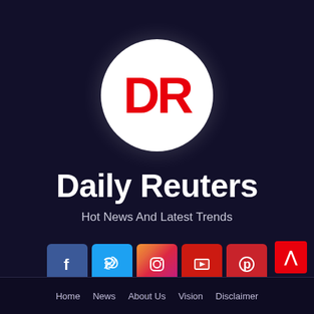[Figure (logo): Daily Reuters logo: white circle with red bold letters DR]
Daily Reuters
Hot News And Latest Trends
[Figure (infographic): Social media icon buttons: Facebook, Twitter, Instagram, YouTube, Pinterest]
[Figure (other): Red scroll-to-top button with upward chevron arrow]
Home   News   About Us   Vision   Disclaimer